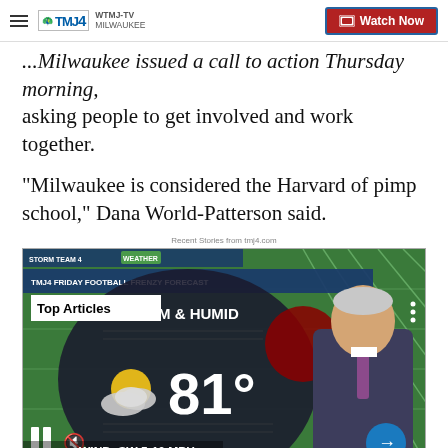WTMJ-TV MILWAUKEE | Watch Now
...Milwaukee issued a call to action Thursday morning, asking people to get involved and work together.
“Milwaukee is considered the Harvard of pimp school,” Dana World-Patterson said.
Recent Stories from tmj4.com
[Figure (screenshot): WTMJ-TV weather broadcast screenshot showing Friday Football Frenzy Forecast with WARM & HUMID conditions, 81 degrees, WIND SW 5-10 MPH. A male meteorologist in a suit stands in front of a football field green screen. Top Articles overlay shown.]